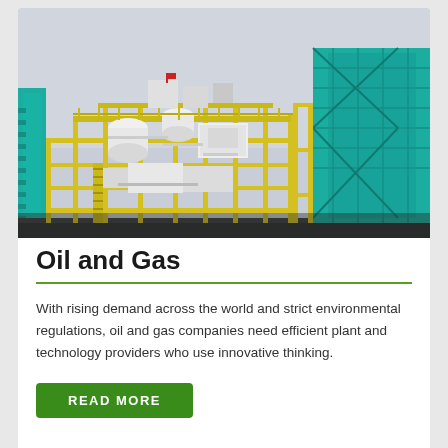[Figure (illustration): 3D rendered image of an industrial oil and gas processing plant module with yellow structural steel framework, white pressure vessels, and teal/cyan colored large storage tanks and structural elements, set against a light gray sky background.]
Oil and Gas
With rising demand across the world and strict environmental regulations, oil and gas companies need efficient plant and technology providers who use innovative thinking.
READ MORE